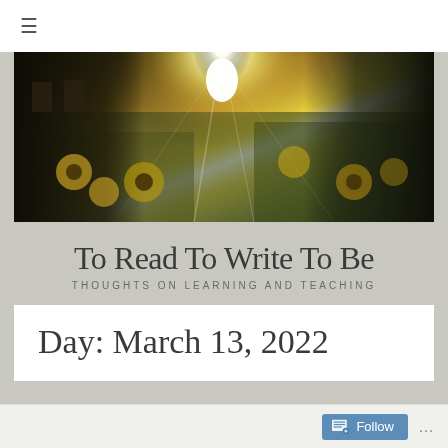≡  🔍
[Figure (photo): Outdoor photograph showing sunflowers and garden foliage with a bright sun flare in the center, a building visible on the left side, and trees on the right, taken in warm golden light]
To Read To Write To Be
THOUGHTS ON LEARNING AND TEACHING
Day: March 13, 2022
Follow  ...